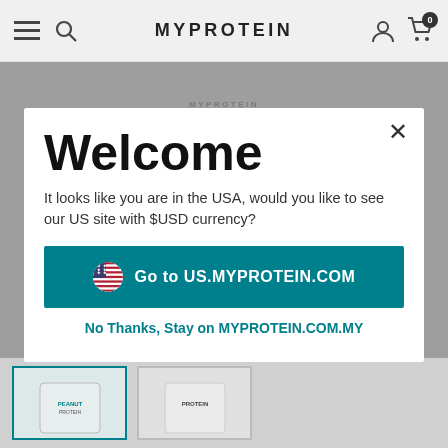MYPROTEIN
Welcome
It looks like you are in the USA, would you like to see our US site with $USD currency?
Go to US.MYPROTEIN.COM
No Thanks, Stay on MYPROTEIN.COM.MY
[Figure (screenshot): Two Myprotein product bags shown as thumbnail images at the bottom of the page]